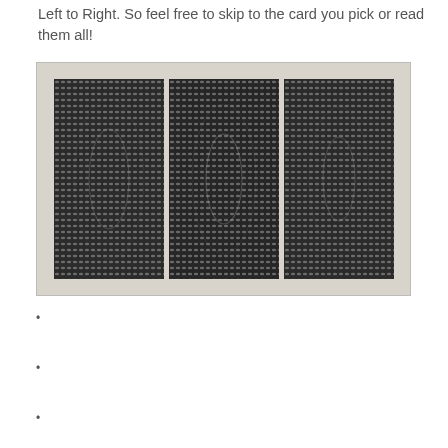Left to Right. So feel free to skip to the card you pick or read them all!
[Figure (photo): Three playing cards face-down showing a dark crosshatch/mesh pattern on a light gray background, arranged side by side.]